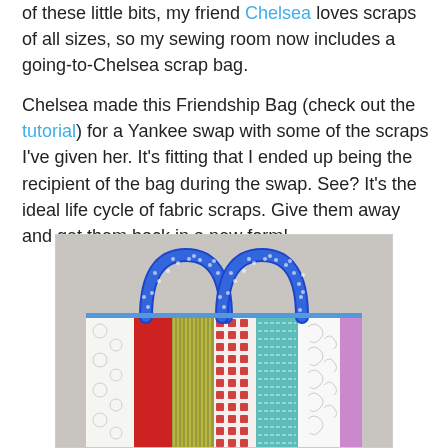of these little bits, my friend Chelsea loves scraps of all sizes, so my sewing room now includes a going-to-Chelsea scrap bag.

Chelsea made this Friendship Bag (check out the tutorial) for a Yankee swap with some of the scraps I've given her. It's fitting that I ended up being the recipient of the bag during the swap. See? It's the ideal life cycle of fabric scraps. Give them away and get them back in a new form!
[Figure (photo): A colorful patchwork tote bag made from fabric scraps. The bag has blue polka-dot handles and vertical strips of various fabrics including white with circles, red, olive/yellow-green stripes, red geometric print, teal striped, and white with swirls and purple edge. The bag sits against a light gray background.]